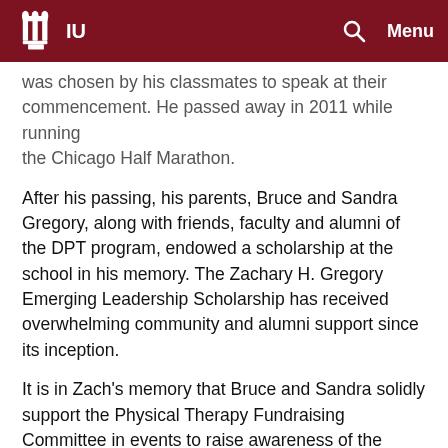IU  [search icon]  Menu
was chosen by his classmates to speak at their commencement. He passed away in 2011 while running the Chicago Half Marathon.
After his passing, his parents, Bruce and Sandra Gregory, along with friends, faculty and alumni of the DPT program, endowed a scholarship at the school in his memory. The Zachary H. Gregory Emerging Leadership Scholarship has received overwhelming community and alumni support since its inception.
It is in Zach's memory that Bruce and Sandra solidly support the Physical Therapy Fundraising Committee in events to raise awareness of the scholarship. They attend the annual Student and Donor Recognition Event to present the award to DPT students who exemplify emerging traits of academic and professional leadership